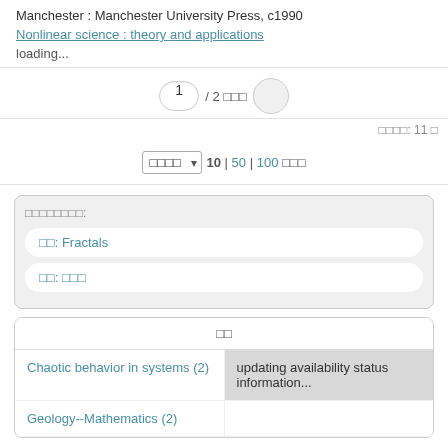Manchester : Manchester University Press, c1990
Nonlinear science : theory and applications
loading...
1 / 2 □□□
□□□□: 11 □
□□□□ ▾ 10 | 50 | 100 □□□
□□□□□□□□:
□□: Fractals
□□: □□□
□□
Chaotic behavior in systems (2)
updating availability status information...
Geology--Mathematics (2)